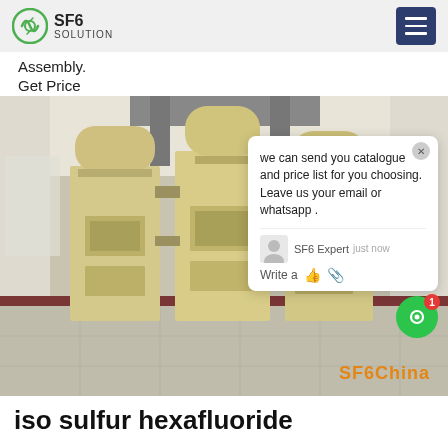SF6 SOLUTION
Assembly.
Get Price
[Figure (photo): Industrial SF6 gas switchgear equipment (three yellowish-beige cabinet units) inside a building, with a chat popup overlay showing 'we can send you catalogue and price list for you choosing. Leave us your email or whatsapp .' from SF6 Expert, and a green chat button with notification badge. SF6China watermark in orange at bottom right.]
iso sulfur hexafluoride